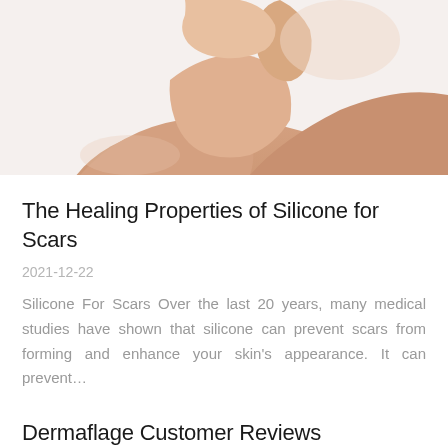[Figure (photo): Photo of a person's neck and shoulder area, touching their face/neck, on a white background. Skin is visible showing the neck/décolletage region relevant to scar treatment context.]
The Healing Properties of Silicone for Scars
2021-12-22
Silicone For Scars Over the last 20 years, many medical studies have shown that silicone can prevent scars from forming and enhance your skin's appearance. It can prevent…
Dermaflage Customer Reviews
2021-11-05